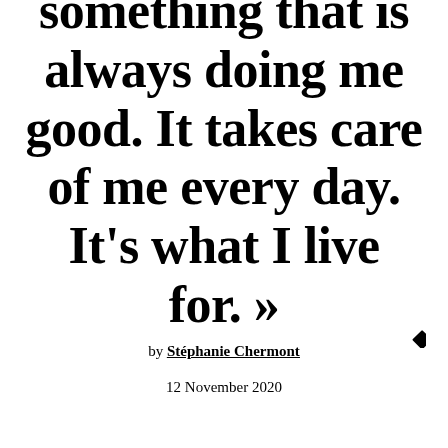something that is always doing me good. It takes care of me every day. It's what I live for. »
by Stéphanie Chermont
12 November 2020